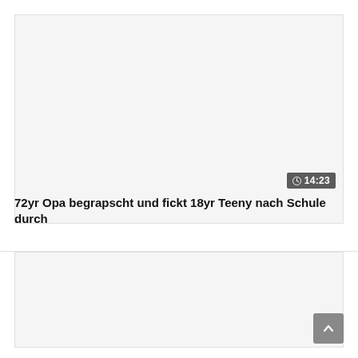[Figure (screenshot): Blank/grey video thumbnail placeholder for the top video]
14:23
72yr Opa begrapscht und fickt 18yr Teeny nach Schule durch
[Figure (screenshot): Blank/grey video thumbnail placeholder for the bottom video]